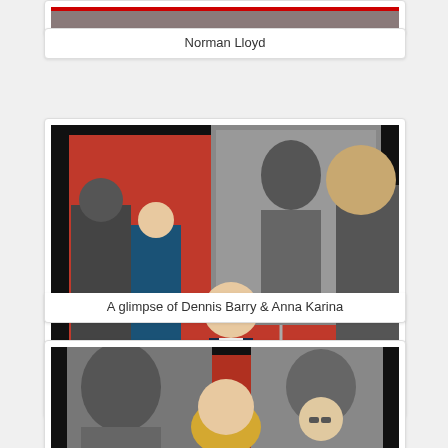[Figure (photo): Partial view of Norman Lloyd photo at top of page]
Norman Lloyd
[Figure (photo): A glimpse of Dennis Barry and Anna Karina at a red carpet event. A woman with sunglasses and a blazer stands on a red carpet in front of a large black-and-white poster. Several other people are visible around her.]
A glimpse of Dennis Barry & Anna Karina
[Figure (photo): Partial view of another photo showing people at what appears to be the same red carpet event with black-and-white posters in the background.]